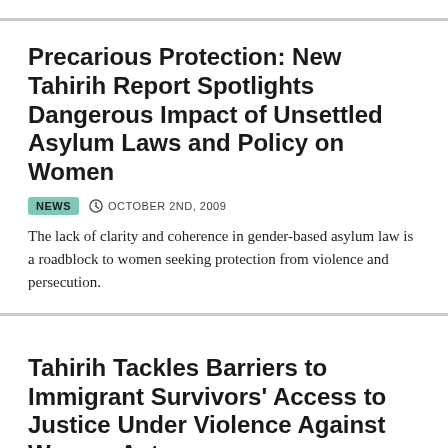Precarious Protection: New Tahirih Report Spotlights Dangerous Impact of Unsettled Asylum Laws and Policy on Women
NEWS  OCTOBER 2ND, 2009
The lack of clarity and coherence in gender-based asylum law is a roadblock to women seeking protection from violence and persecution.
Tahirih Tackles Barriers to Immigrant Survivors' Access to Justice Under Violence Against Women Act